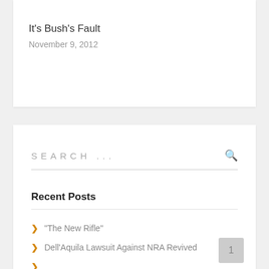It's Bush's Fault
November 9, 2012
SEARCH ...
Recent Posts
“The New Rifle”
Dell’Aquila Lawsuit Against NRA Revived